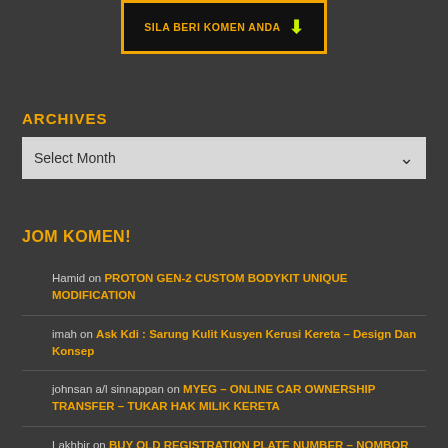[Figure (illustration): Orange and black banner button with text 'SILA BERI KOMEN ANDA' and a green downward arrow]
ARCHIVES
Select Month (dropdown)
JOM KOMEN!
Hamid on PROTON GEN-2 CUSTOM BODYKIT UNIQUE MODIFICATION
imah on Ask Kdi : Sarung Kulit Kusyen Kerusi Kereta – Design Dan Konsep
johnsan a/l sinnappan on MYEG – ONLINE CAR OWNERSHIP TRANSFER – TUKAR HAK MILIK KERETA
Lakhbir on BUY OLD REGISTRATION PLATE NUMBER – NOMBOR PLAT